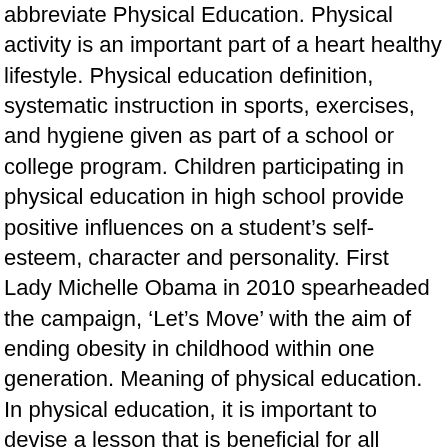abbreviate Physical Education. Physical activity is an important part of a heart healthy lifestyle. Physical education definition, systematic instruction in sports, exercises, and hygiene given as part of a school or college program. Children participating in physical education in high school provide positive influences on a student's self-esteem, character and personality. First Lady Michelle Obama in 2010 spearheaded the campaign, 'Let's Move' with the aim of ending obesity in childhood within one generation. Meaning of physical education. In physical education, it is important to devise a lesson that is beneficial for all students regardless of skill level. Hence, today extreme attention is paid to physical education starting from the school level. Physical education is a course that focuses on developing physical fitness in the youth. The importance of physical health is something that physical education teaches students. Definition of physical education. Same as Music, Gym and Math, this is a required course in primary and secondary school. Physical education, also known as Phys Ed., P.E, gym, or gym class, and known in many Countries with other terms, is a subject in a PT in...